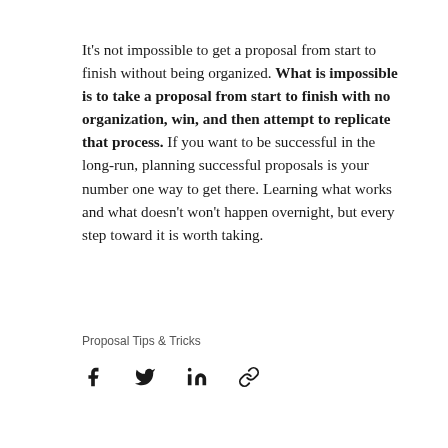It's not impossible to get a proposal from start to finish without being organized. What is impossible is to take a proposal from start to finish with no organization, win, and then attempt to replicate that process. If you want to be successful in the long-run, planning successful proposals is your number one way to get there. Learning what works and what doesn't won't happen overnight, but every step toward it is worth taking.
Proposal Tips & Tricks